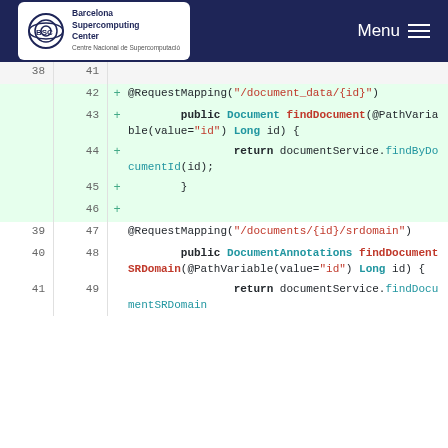Barcelona Supercomputing Center — Menu
[Figure (screenshot): Code diff view showing Java controller methods: findDocument and findDocumentSRDomain, with added lines (42-46) highlighted in green, displaying @RequestMapping annotations and method signatures with @PathVariable parameters.]